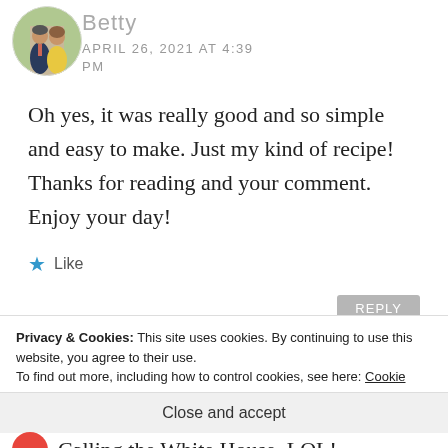[Figure (photo): Circular avatar photo of a couple, a man in a suit and a woman in a yellow floral dress, standing outdoors]
Betty
APRIL 26, 2021 AT 4:39 PM
Oh yes, it was really good and so simple and easy to make. Just my kind of recipe! Thanks for reading and your comment. Enjoy your day!
★ Like
REPLY
Privacy & Cookies: This site uses cookies. By continuing to use this website, you agree to their use.
To find out more, including how to control cookies, see here: Cookie Policy
Close and accept
Calling the White House, LOL!